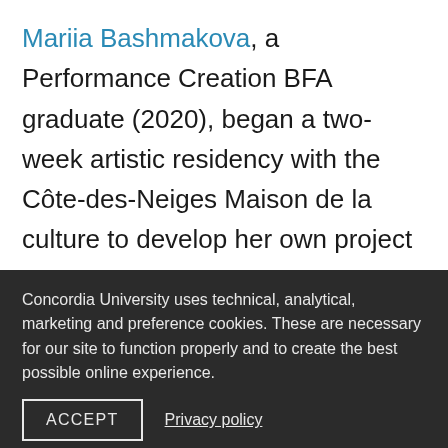Mariia Bashmakova, a Performance Creation BFA graduate (2020), began a two-week artistic residency with the Côte-des-Neiges Maison de la culture to develop her own project that she has entitled Plastic People.
“After two years of finding ways to make art in the confines of my apartment and digital space, being in a real, stunning theatre with
Concordia University uses technical, analytical, marketing and preference cookies. These are necessary for our site to function properly and to create the best possible online experience.